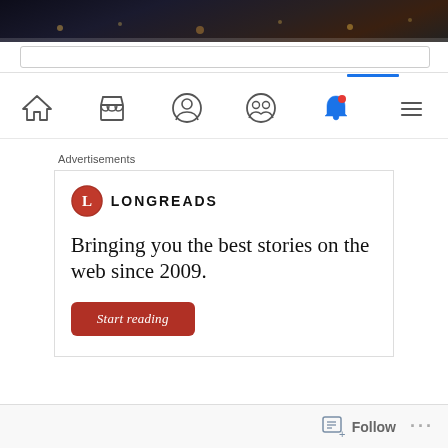[Figure (screenshot): Dark night cityscape photo at top of page]
[Figure (screenshot): Mobile website navigation bar with home, store, profile, community, bell (active/highlighted), and menu icons]
Advertisements
[Figure (infographic): Longreads advertisement featuring logo, tagline 'Bringing you the best stories on the web since 2009.' and a red 'Start reading' button]
[Figure (screenshot): Bottom bar with Follow button and ellipsis menu]